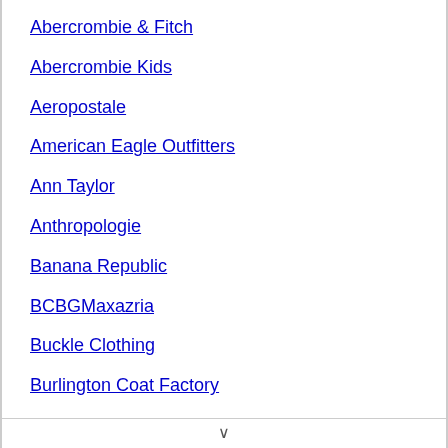Abercrombie & Fitch
Abercrombie Kids
Aeropostale
American Eagle Outfitters
Ann Taylor
Anthropologie
Banana Republic
BCBGMaxazria
Buckle Clothing
Burlington Coat Factory